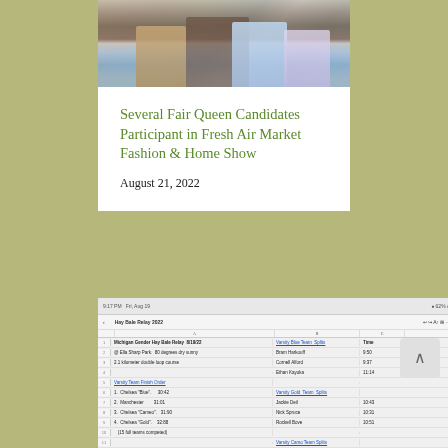[Figure (photo): Photo of several women (Fair Queen Candidates) posing together, partial view showing clothing/outfits]
Several Fair Queen Candidates Participant in Fresh Air Market Fashion & Home Show
August 21, 2022
[Figure (screenshot): Screenshot of a spreadsheet showing Michigan Gender Hay Bale Relay 2022 results including team names, individual times, and coach comments]